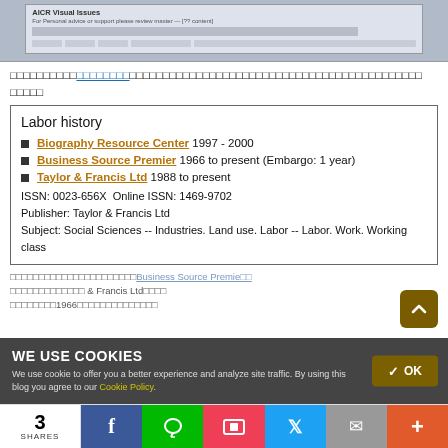[Figure (screenshot): Screenshot of a webpage showing a database or journal search interface]
（日本語テキスト）リンク付きテキストが含まれる段落
| Labor history |
| Biography Resource Center 1997 - 2000 |
| Business Source Premier 1966 to present (Embargo: 1 year) |
| Taylor & Francis Ltd 1988 to present |
| ISSN: 0023-656X Online ISSN: 1469-9702 |
| Publisher: Taylor & Francis Ltd |
| Subject: Social Sciences -- Industries. Land use. Labor -- Labor. Work. Working class |
[Figure (screenshot): Cookie consent banner overlay with WE USE COOKIES heading and OK button, and social share bar at bottom]
3 SHARES